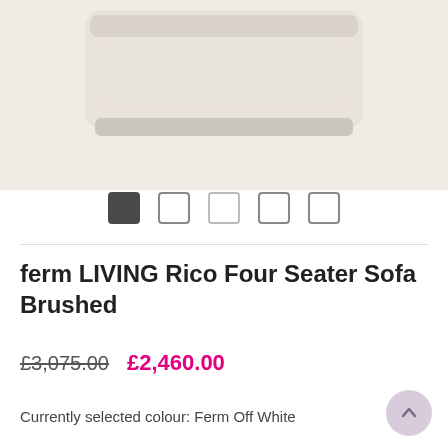[Figure (photo): Top portion of a beige/off-white ferm LIVING Rico Four Seater Sofa, showing the top cushion and frame against a light background]
[Figure (infographic): Image carousel navigation dots: 5 squares, first one filled dark (active), remaining four empty/outlined]
ferm LIVING Rico Four Seater Sofa Brushed
£3,075.00  £2,460.00
Currently selected colour: Ferm Off White